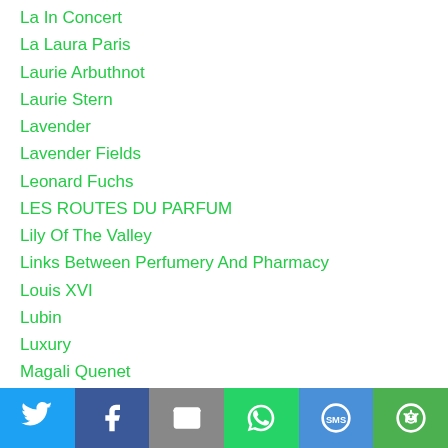La In Concert
La Laura Paris
Laurie Arbuthnot
Laurie Stern
Lavender
Lavender Fields
Leonard Fuchs
LES ROUTES DU PARFUM
Lily Of The Valley
Links Between Perfumery And Pharmacy
Louis XVI
Lubin
Luxury
Magali Quenet
Market Share
Market Survey
Materia Medica
Muguet
Muriel Balenci
[Figure (infographic): Social sharing bar with icons for Twitter, Facebook, Email, WhatsApp, SMS, and More]